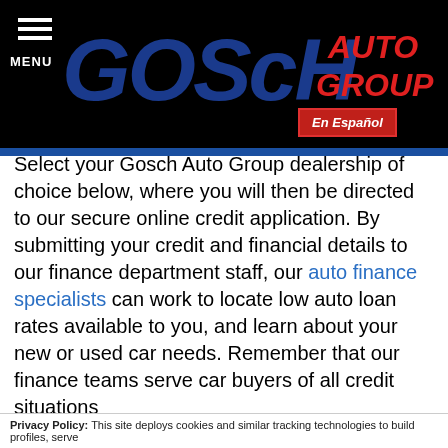GOScH AUTO GROUP — MENU
credit challenged situations, so don't hesitate to send our financial experts in Hemet and Temecula, CA an online request now! We'll review your material and will be in touch shortly to discuss all the ways we can assist!
Select your Gosch Auto Group dealership of choice below, where you will then be directed to our secure online credit application. By submitting your credit and financial details to our finance department staff, our auto finance specialists can work to locate low auto loan rates available to you, and learn about your new or used car needs. Remember that our finance teams serve car buyers of all credit situations
Privacy Policy: This site deploys cookies and similar tracking technologies to build profiles, serve